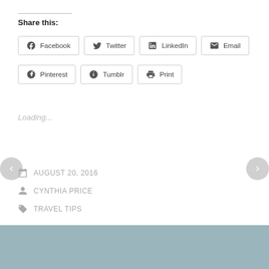Share this:
Facebook
Twitter
LinkedIn
Email
Pinterest
Tumblr
Print
Loading...
AUGUST 20, 2016
CYNTHIA PRICE
TRAVEL TIPS